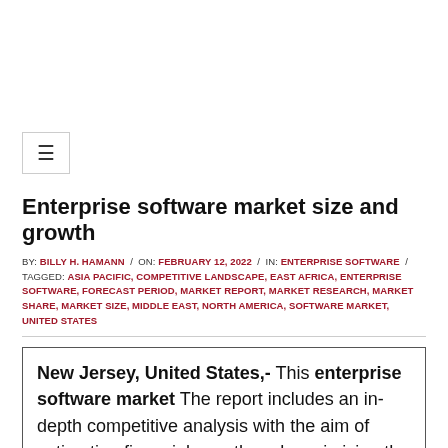Enterprise software market size and growth
BY: BILLY H. HAMANN / ON: FEBRUARY 12, 2022 / IN: ENTERPRISE SOFTWARE / TAGGED: ASIA PACIFIC, COMPETITIVE LANDSCAPE, EAST AFRICA, ENTERPRISE SOFTWARE, FORECAST PERIOD, MARKET REPORT, MARKET RESEARCH, MARKET SHARE, MARKET SIZE, MIDDLE EAST, NORTH AMERICA, SOFTWARE MARKET, UNITED STATES
New Jersey, United States,- This enterprise software market The report includes an in-depth competitive analysis with the aim of estimating financial growth and maximizing the company’s profit potential. It helps in making reasonable investment decisions based on consumer needs. It also forecasts